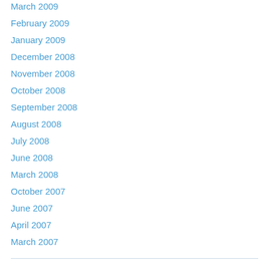March 2009
February 2009
January 2009
December 2008
November 2008
October 2008
September 2008
August 2008
July 2008
June 2008
March 2008
October 2007
June 2007
April 2007
March 2007
Pages
A study of Site
About